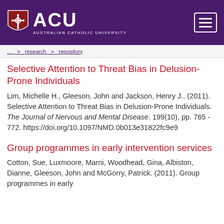[Figure (logo): ACU Australian Catholic University logo on purple header bar with hamburger menu icon]
navigation breadcrumb link bar
Selective Attention to Threat Bias in Delusion-Prone Individuals
Lim, Michelle H., Gleeson, John and Jackson, Henry J.. (2011). Selective Attention to Threat Bias in Delusion-Prone Individuals. The Journal of Nervous and Mental Disease. 199(10), pp. 765 - 772. https://doi.org/10.1097/NMD.0b013e31822fc9e9
Group programmes in early intervention services
Cotton, Sue, Luxmoore, Marni, Woodhead, Gina, Albiston, Dianne, Gleeson, John and McGorry, Patrick. (2011). Group programmes in early